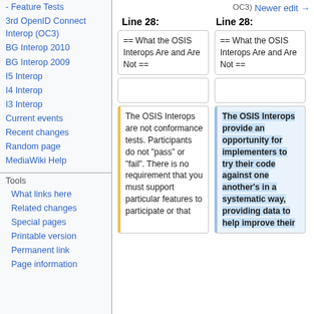- Feature Tests
3rd OpenID Connect Interop (OC3)
BG Interop 2010
BG Interop 2009
I5 Interop
I4 Interop
I3 Interop
Current events
Recent changes
Random page
MediaWiki Help
Tools
What links here
Related changes
Special pages
Printable version
Permanent link
Page information
OC3)
Newer edit →
Line 28:
Line 28:
== What the OSIS Interops Are and Are Not ==
== What the OSIS Interops Are and Are Not ==
(empty)
(empty)
The OSIS Interops are not conformance tests. Participants do not "pass" or "fail". There is no requirement that you must support particular features to participate or that
The OSIS Interops provide an opportunity for implementers to try their code against one another's in a systematic way, providing data to help improve their